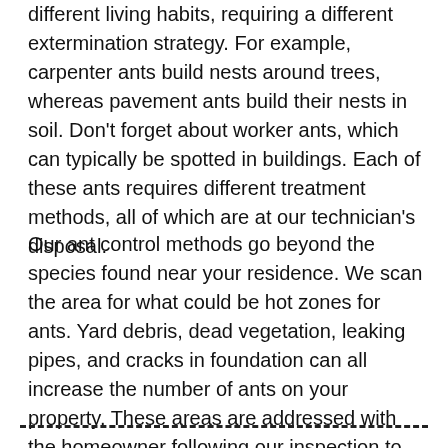different living habits, requiring a different extermination strategy. For example, carpenter ants build nests around trees, whereas pavement ants build their nests in soil. Don't forget about worker ants, which can typically be spotted in buildings. Each of these ants requires different treatment methods, all of which are at our technician's disposal.
Our ant control methods go beyond the species found near your residence. We scan the area for what could be hot zones for ants. Yard debris, dead vegetation, leaking pipes, and cracks in foundation can all increase the number of ants on your property. These areas are addressed with the homeowner following our inspection to reduce the population. Complete the form below to contact our office for ant control service in Roswell, Georgia.